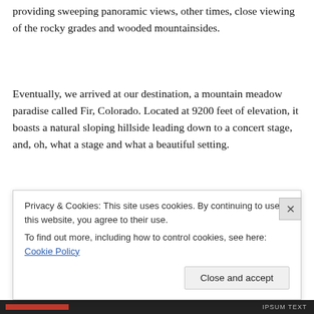providing sweeping panoramic views, other times, close viewing of the rocky grades and wooded mountainsides.
Eventually, we arrived at our destination, a mountain meadow paradise called Fir, Colorado. Located at 9200 feet of elevation, it boasts a natural sloping hillside leading down to a concert stage, and, oh, what a stage and what a beautiful setting.
Privacy & Cookies: This site uses cookies. By continuing to use this website, you agree to their use.
To find out more, including how to control cookies, see here: Cookie Policy
Close and accept